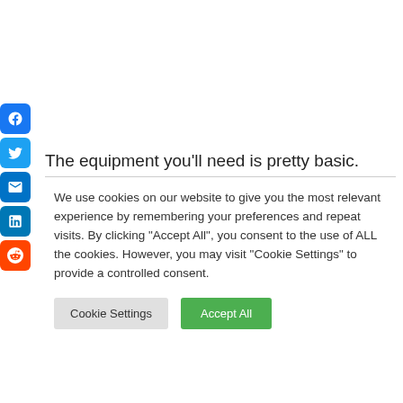[Figure (infographic): Social share buttons on the left side: Facebook (blue), Twitter (blue), Email (dark blue), LinkedIn (blue), Reddit (orange-red)]
The equipment you'll need is pretty basic.
We use cookies on our website to give you the most relevant experience by remembering your preferences and repeat visits. By clicking "Accept All", you consent to the use of ALL the cookies. However, you may visit "Cookie Settings" to provide a controlled consent.
Cookie Settings | Accept All